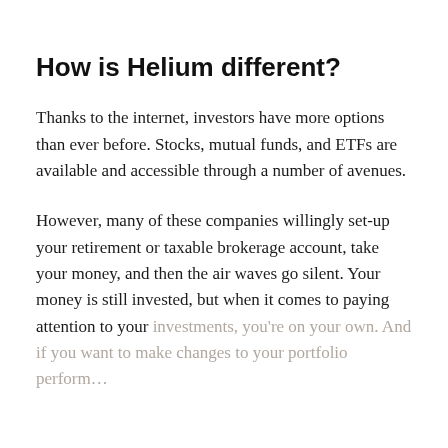How is Helium different?
Thanks to the internet, investors have more options than ever before. Stocks, mutual funds, and ETFs are available and accessible through a number of avenues.
However, many of these companies willingly set-up your retirement or taxable brokerage account, take your money, and then the air waves go silent. Your money is still invested, but when it comes to paying attention to your investments, you're on your own. And if you want to make changes to your portfolio perform…